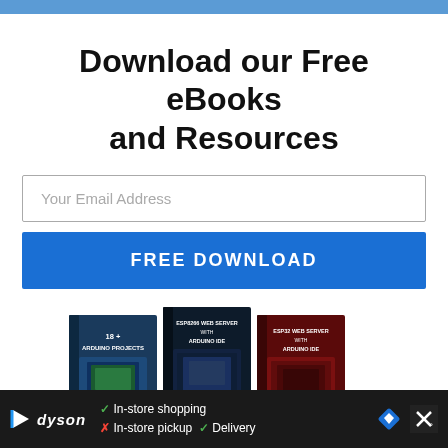Download our Free eBooks and Resources
Your Email Address
FREE DOWNLOAD
[Figure (photo): Three eBook covers: '18+ Arduino Projects', 'ESP8266 Web Server with Arduino IDE', 'ESP32 Web Server with Arduino IDE', plus 'Ultimate Guide for Arduino Sensor Modules' and 'Arduino Mini Course' covers below]
Dyson ad: In-store shopping, In-store pickup (X), Delivery (checkmark)